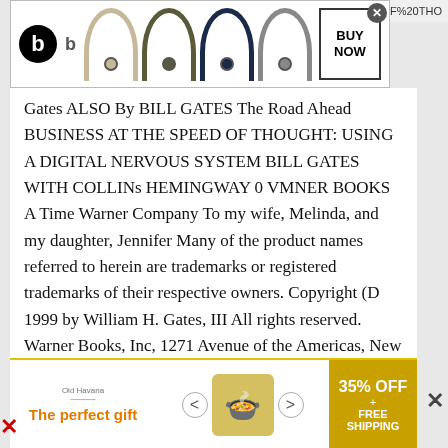[Figure (screenshot): Beats headphones advertisement banner at top with Beats logo, multiple headphone images in different colors (tan, olive, navy, gray), and a BUY NOW button]
Gates ALSO By BILL GATES The Road Ahead BUSINESS AT THE SPEED OF THOUGHT: USING A DIGITAL NERVOUS SYSTEM BILL GATES WITH COLLINs HEMINGWAY 0 VMNER BOOKS A Time Warner Company To my wife, Melinda, and my daughter, Jennifer Many of the product names referred to herein are trademarks or registered trademarks of their respective owners. Copyright (D 1999 by William H. Gates, III All rights reserved. Warner Books, Inc, 1271 Avenue of the Americas, New York, NY 10020 Visit our Web site at www.warnerbooks.com 0 A Time Warner Company Printed in the United States of America First Printing: March 1999 10 9 8 7 6 5 4 3 2 1 ISBN: 0-446-52568-5 LC: 99-60040 Text design by Stanley S. Drate lFolio
[Figure (screenshot): Bottom advertisement banner: 'The perfect gift' with Old Havana branding, food/dish image, navigation arrows, and 35% OFF + FREE SHIPPING offer in gold]